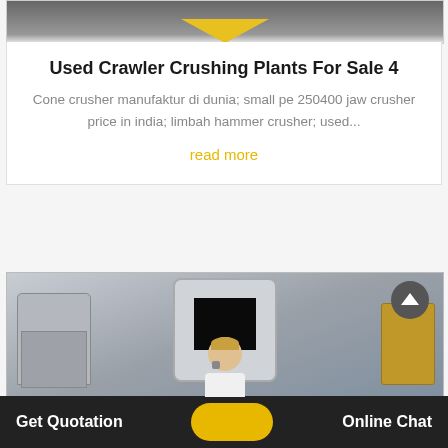[Figure (photo): Top portion of industrial machinery image with yellow chevron divider]
Used Crawler Crushing Plants For Sale 4
Cone crusher manufaktur di dunia; small pe 250400 jaw crusher price in india; limbah hammer crusher; used...
read more
[Figure (photo): Industrial crusher machinery in a factory/warehouse setting]
Get Quotation   Online Chat